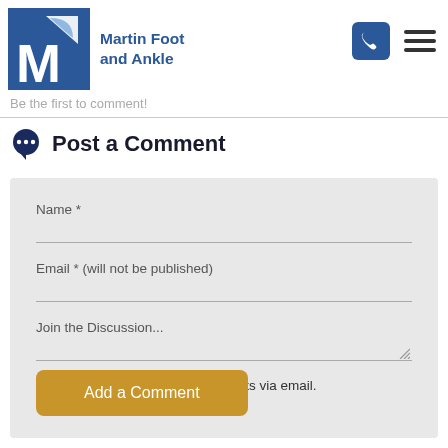Martin Foot and Ankle
Be the first to comment!
Post a Comment
Name *
Email * (will not be published)
Join the Discussion...
Notify me of follow-up comments via email.
Add a Comment